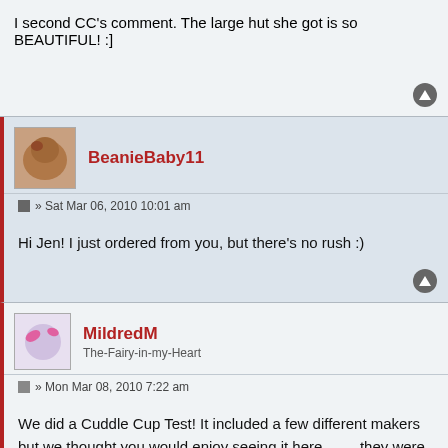I second CC's comment. The large hut she got is so BEAUTIFUL! :]
BeanieBaby11
» Sat Mar 06, 2010 10:01 am
Hi Jen! I just ordered from you, but there's no rush :)
MildredM
The-Fairy-in-my-Heart
» Mon Mar 08, 2010 7:22 am
We did a Cuddle Cup Test! It included a few different makers but we thought you would enjoy seeing it here . . . . they were all a resounding success! That is Jen's super hut, centre left - Fairy loves it :)
[Figure (photo): A partial image strip showing a dark/black image on the left and a red section with text on the right, at the bottom of the page.]